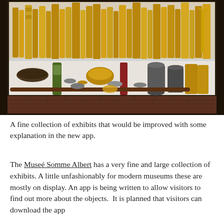[Figure (photo): Museum display case showing a large collection of brass and metal artifacts, vases, cylinders, figurines, bowls, and decorative objects arranged on shelves, with a dark brick wall visible below the case.]
A fine collection of exhibits that would be improved with some explanation in the new app.
The Museé Somme Albert has a very fine and large collection of exhibits. A little unfashionably for modern museums these are mostly on display. An app is being written to allow visitors to find out more about the objects.  It is planned that visitors can download the app